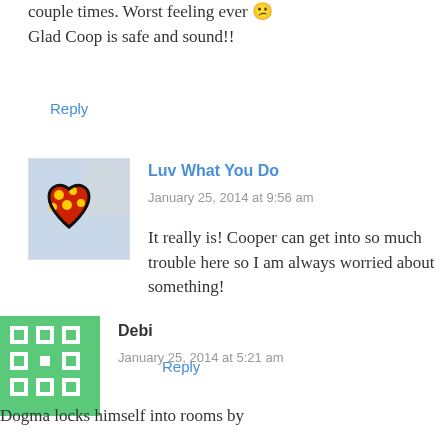couple times. Worst feeling ever 😕 Glad Coop is safe and sound!!
Reply
[Figure (photo): Avatar image for Luv What You Do - colorful heart artwork with red and yellow polka dots on blue background]
Luv What You Do
January 25, 2014 at 9:56 am
It really is! Cooper can get into so much trouble here so I am always worried about something!
Reply
[Figure (photo): Avatar image for Debi - green and white geometric/quilt pattern square]
Debi
January 25, 2014 at 5:21 am
Dogma locks himself into rooms by